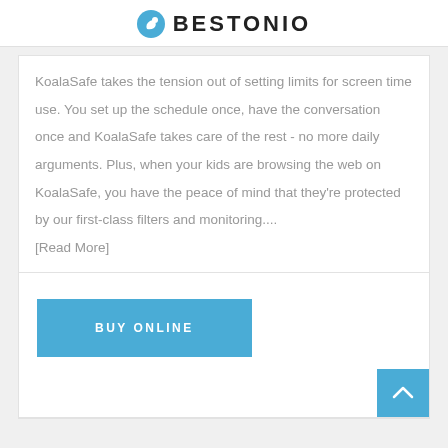BESTONIO
KoalaSafe takes the tension out of setting limits for screen time use. You set up the schedule once, have the conversation once and KoalaSafe takes care of the rest - no more daily arguments. Plus, when your kids are browsing the web on KoalaSafe, you have the peace of mind that they're protected by our first-class filters and monitoring.... [Read More]
BUY ONLINE